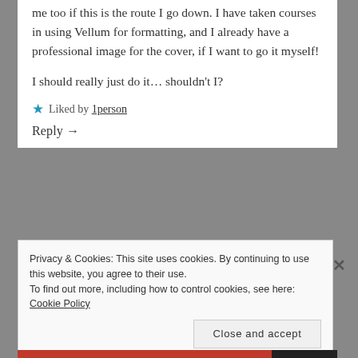me too if this is the route I go down. I have taken courses in using Vellum for formatting, and I already have a professional image for the cover, if I want to go it myself!
I should really just do it… shouldn't I?
★ Liked by 1person
Reply →
Privacy & Cookies: This site uses cookies. By continuing to use this website, you agree to their use.
To find out more, including how to control cookies, see here: Cookie Policy
Close and accept